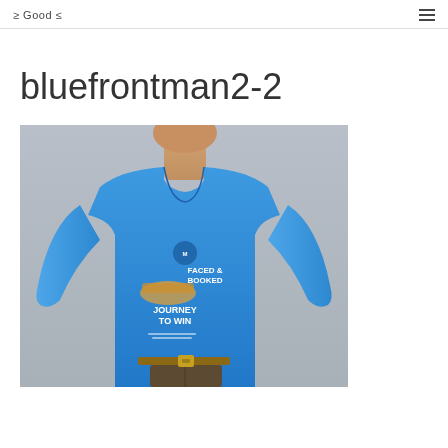≥ Good ≤
bluefrontman2-2
[Figure (photo): A man wearing a blue t-shirt with cartoon illustration graphic that reads 'FACED & BOOKED' and 'JOURNEY TO WIN', photographed against a light grey background, cropped at waist level]